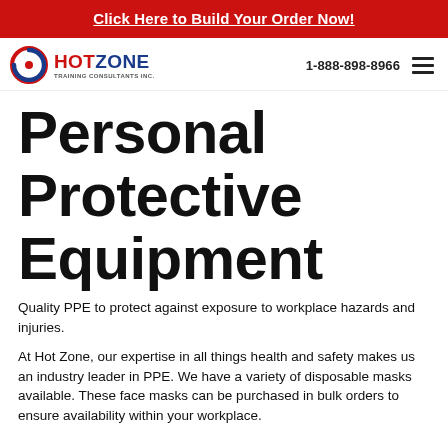Click Here to Build Your Order Now!
[Figure (logo): Hot Zone Training Consultants Inc. logo with circular blue/red icon and phone number 1-888-898-8966 with hamburger menu]
Personal Protective Equipment
Quality PPE to protect against exposure to workplace hazards and injuries.
At Hot Zone, our expertise in all things health and safety makes us an industry leader in PPE. We have a variety of disposable masks available. These face masks can be purchased in bulk orders to ensure availability within your workplace.